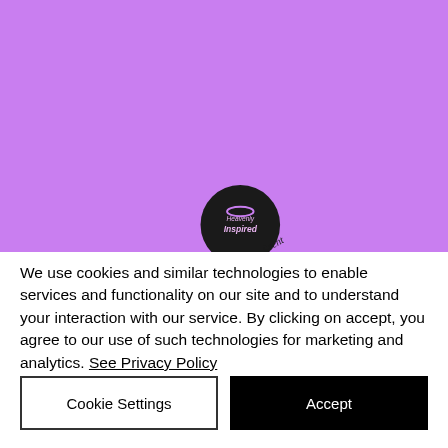[Figure (photo): Purple/lavender background with a circular dark logo for 'Heavenly Inspired' brand with cursive text 'Scent' partially visible]
We use cookies and similar technologies to enable services and functionality on our site and to understand your interaction with our service. By clicking on accept, you agree to our use of such technologies for marketing and analytics. See Privacy Policy
Cookie Settings
Accept